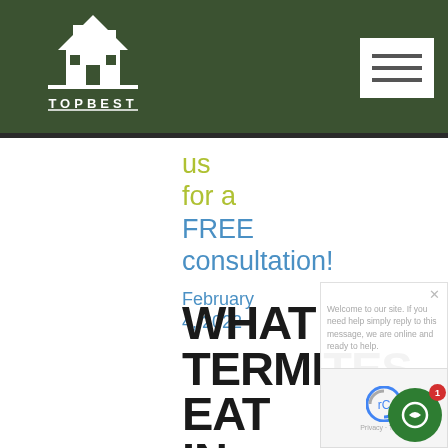TOPBEST
us
for a
FREE
consultation!
February 4, 2022
WHAT TERMITES EAT IN YOUR HOME